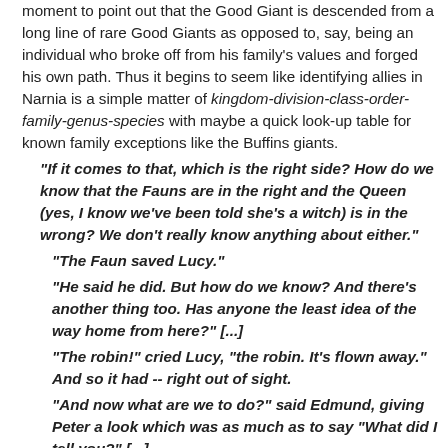moment to point out that the Good Giant is descended from a long line of rare Good Giants as opposed to, say, being an individual who broke off from his family's values and forged his own path. Thus it begins to seem like identifying allies in Narnia is a simple matter of kingdom-division-class-order-family-genus-species with maybe a quick look-up table for known family exceptions like the Buffins giants.
"If it comes to that, which is the right side? How do we know that the Fauns are in the right and the Queen (yes, I know we've been told she's a witch) is in the wrong? We don't really know anything about either."
"The Faun saved Lucy."
"He said he did. But how do we know? And there's another thing too. Has anyone the least idea of the way home from here?" [...]
"The robin!" cried Lucy, "the robin. It's flown away." And so it had -- right out of sight.
"And now what are we to do?" said Edmund, giving Peter a look which was as much as to say "What did I tell you?" [...]
"There's something moving among the trees over